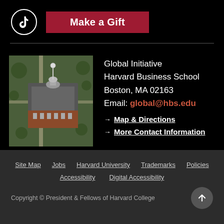[Figure (logo): TikTok icon in white circle]
Make a Gift
[Figure (photo): Aerial view of Harvard Business School campus building]
Global Initiative
Harvard Business School
Boston, MA 02163
Email: global@hbs.edu
→ Map & Directions
→ More Contact Information
Site Map  Jobs  Harvard University  Trademarks  Policies  Accessibility  Digital Accessibility  Copyright © President & Fellows of Harvard College